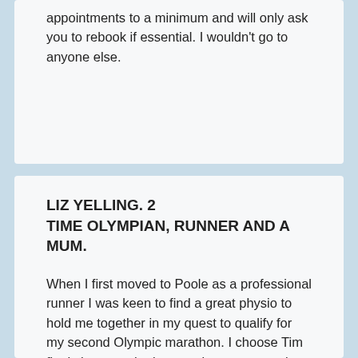appointments to a minimum and will only ask you to rebook if essential. I wouldn't go to anyone else.
LIZ YELLING. 2 TIME OLYMPIAN, RUNNER AND A MUM.
When I first moved to Poole as a professional runner I was keen to find a great physio to hold me together in my quest to qualify for my second Olympic marathon. I choose Tim firstly because he is an active person and understands the demands of being active but also his willingness to keep up to date with his knowledge and to constantly learn was important to me.  Tim is a great physio who responds to the demands of the individual, he applies first class treatment to every client to achieve great